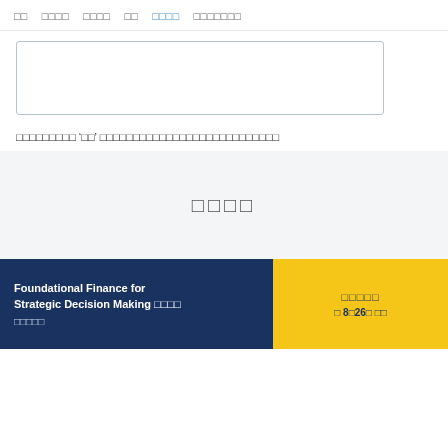□□  □□□□  □□□□  □□  □□□□  □□□□□□□
[Figure (other): A white content input box with light gray border]
□□□□□□□□□ ‘□□’ □□□□□□□□□□□□□□□□□□□□□□□□□□□
[Figure (other): Gray background section with four square placeholder characters]
□□□□
Foundational Finance for Strategic Decision Making □□□□ □□□□□
□□□□□ □ 8□26□ □□